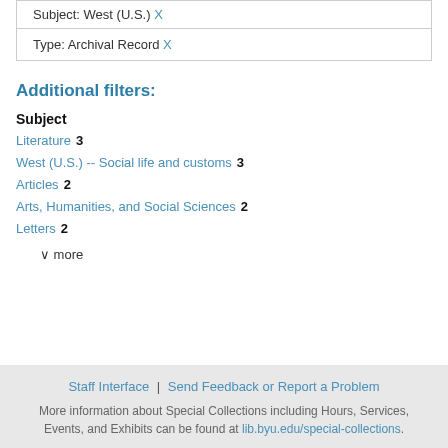Subject: West (U.S.) X
Type: Archival Record X
Additional filters:
Subject
Literature 3
West (U.S.) -- Social life and customs 3
Articles 2
Arts, Humanities, and Social Sciences 2
Letters 2
∨ more
Staff Interface | Send Feedback or Report a Problem
More information about Special Collections including Hours, Services, Events, and Exhibits can be found at lib.byu.edu/special-collections.